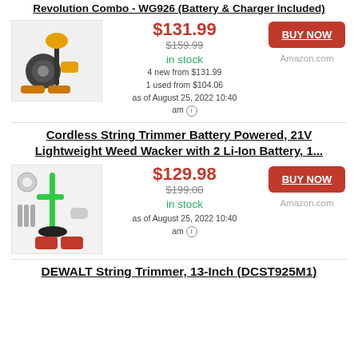Revolution Combo - WG926 (Battery & Charger Included)
$131.99 $159.99 in stock 4 new from $131.99 1 used from $104.06 as of August 25, 2022 10:40 am
[Figure (photo): Cordless string trimmer and blower combo product image with battery and charger]
BUY NOW Amazon.com
Cordless String Trimmer Battery Powered, 21V Lightweight Weed Wacker with 2 Li-Ion Battery, 1...
$129.98 $199.00 in stock as of August 25, 2022 10:40 am
[Figure (photo): Green cordless string trimmer with battery accessories]
BUY NOW Amazon.com
DEWALT String Trimmer, 13-Inch (DCST925M1)